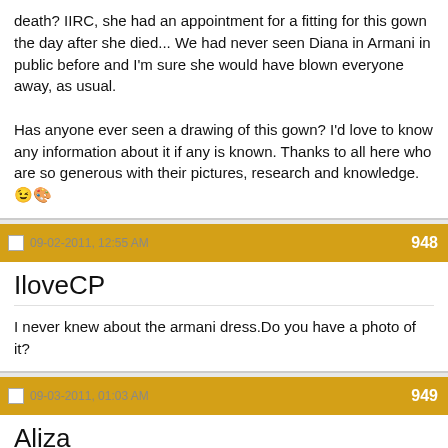death? IIRC, she had an appointment for a fitting for this gown the day after she died... We had never seen Diana in Armani in public before and I'm sure she would have blown everyone away, as usual.
Has anyone ever seen a drawing of this gown? I'd love to know any information about it if any is known. Thanks to all here who are so generous with their pictures, research and knowledge. [smiley emoji]
09-02-2011, 12:55 AM
948
IloveCP
I never knew about the armani dress.Do you have a photo of it?
09-03-2011, 01:03 AM
949
Aliza
Quote:
Originally Posted by IloveCP
I never knew about the armani dress.Do you have a photo of it?
I think I only have a newspaper article, published shortly after her